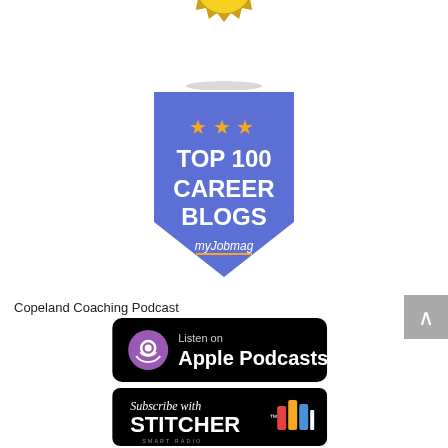[Figure (illustration): Gold badge/seal labeled TOP 100 CAREER DEVELOPMENT BLOG, partially cropped at top]
[Figure (illustration): Blue shield/banner badge labeled TOP 100 CAREER BLOGS by myJobmag, with three gold stars]
Copeland Coaching Podcast
[Figure (logo): Listen on Apple Podcasts badge — black rounded rectangle with purple podcast icon]
[Figure (logo): Subscribe with Stitcher Smart Radio badge — black rounded rectangle with colorful Stitcher logo]